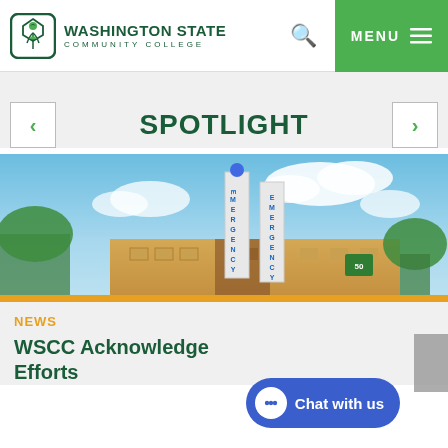[Figure (logo): Washington State Community College logo with green shield icon and text]
SPOTLIGHT
[Figure (photo): Emergency room exterior building with two vertical EMERGENCY signs and blue sky with clouds]
NEWS
WSCC Acknowledge Efforts